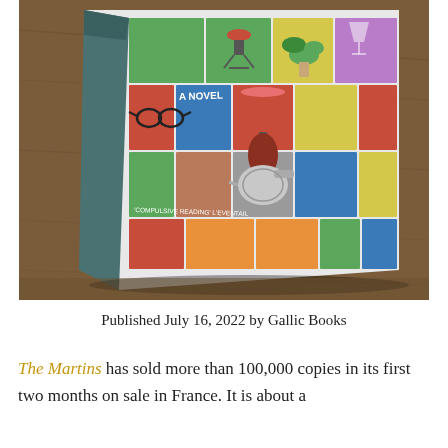[Figure (photo): A photograph of a book resting on a wooden surface. The book has a colorful cover featuring a grid of illustrated household objects (office chair, plant, wine glass, glasses, lamp, kettle, briefcase, etc.) on colored squares (green, blue, red, orange, gray, yellow, purple). Text on the cover reads 'A NOVEL' and "'COMPULSIVE READING' L'EVENTAIL". The book spine shows a dark teal/gray color.]
Published July 16, 2022 by Gallic Books
The Martins has sold more than 100,000 copies in its first two months on sale in France. It is about a